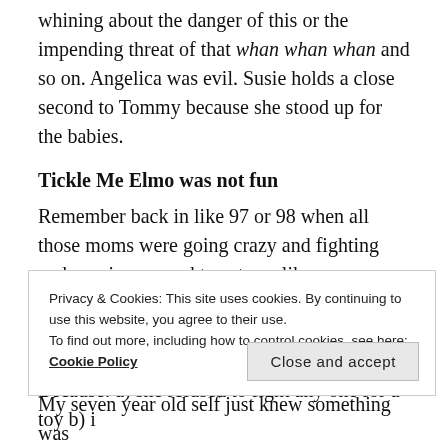whining about the danger of this or the impending threat of that whan whan whan and so on. Angelica was evil. Susie holds a close second to Tommy because she stood up for the babies.
Tickle Me Elmo was not fun
Remember back in like 97 or 98 when all those moms were going crazy and fighting and running around toy stores like madwomen just so they could get a Tickle Me Elmo for their kid. Yeah wanna guess whose mom wasn't doing all that stuff? Mine. Why? Because: a) she refused to fight any one for a toy b) i
Privacy & Cookies: This site uses cookies. By continuing to use this website, you agree to their use.
To find out more, including how to control cookies, see here:
Cookie Policy
My seven year old self just knew something was